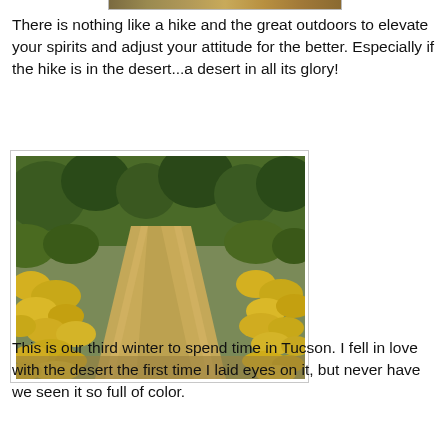[Figure (photo): Partial top edge of a photo showing desert landscape, cropped at top of page]
There is nothing like a hike and the great outdoors to elevate your spirits and adjust your attitude for the better. Especially if the hike is in the desert...a desert in all its glory!
[Figure (photo): Desert hiking trail with yellow wildflowers (brittlebush) blooming on both sides of a sandy dirt path, with desert shrubs and trees in the background. Photo is framed with a light border.]
This is our third winter to spend time in Tucson. I fell in love with the desert the first time I laid eyes on it, but never have we seen it so full of color.